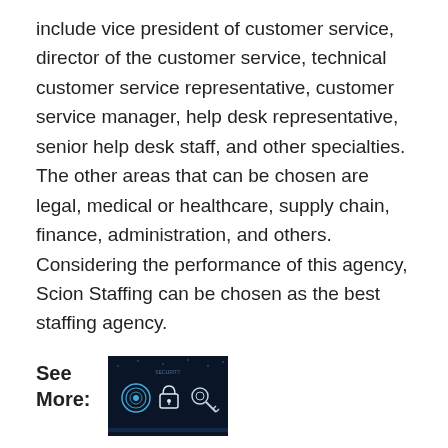include vice president of customer service, director of the customer service, technical customer service representative, customer service manager, help desk representative, senior help desk staff, and other specialties. The other areas that can be chosen are legal, medical or healthcare, supply chain, finance, administration, and others. Considering the performance of this agency, Scion Staffing can be chosen as the best staffing agency.
See More:
[Figure (photo): Dark digital technology image showing glowing icons]
5 Ways to Manage your Company's Data
The truth about conducting business in the
Well, most of the nonprofit staffing agencies will be able to provide the remarkable talents that can suit your requirements so nicely. It does not matter if your organization needs the